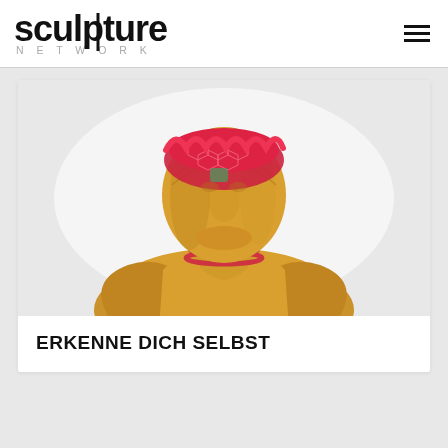sculpture NETWORK
[Figure (photo): Gold sculpture of a human bust with red decorative headpiece and red beaded necklace, photographed on a white background.]
ERKENNE DICH SELBST